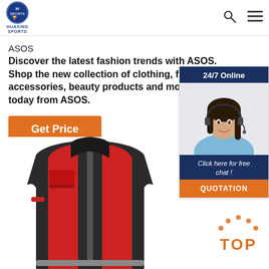HUAXING SPORTS
ASOS
Discover the latest fashion trends with ASOS. Shop the new collection of clothing, footwear, accessories, beauty products and more today from ASOS.
Get Price
[Figure (photo): Customer service representative woman with headset, smiling, with '24/7 Online' header, 'Click here for free chat!' text, and 'QUOTATION' button]
[Figure (photo): Red and black life jacket / safety vest product image]
[Figure (other): TOP badge with orange dots arranged in an arch above the word TOP in orange]